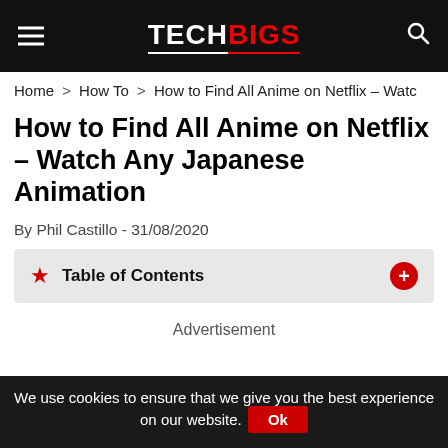TECHBIGS
Home > How To > How to Find All Anime on Netflix – Watch Any Japanese Animation
How to Find All Anime on Netflix – Watch Any Japanese Animation
By Phil Castillo - 31/08/2020
Table of Contents
Advertisement
We use cookies to ensure that we give you the best experience on our website. Ok